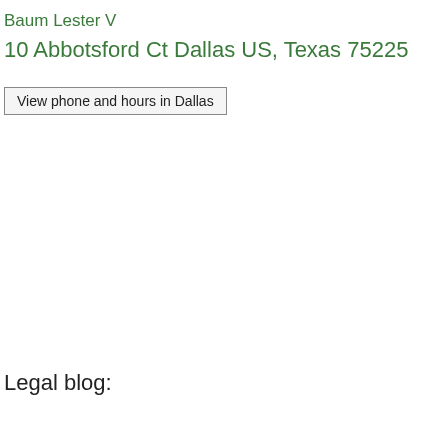Baum Lester V
10 Abbotsford Ct Dallas US, Texas 75225
View phone and hours in Dallas
Legal blog: